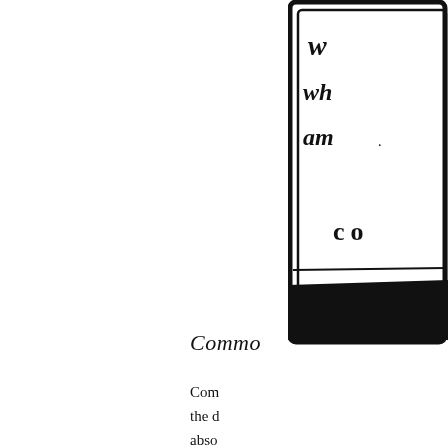[Figure (illustration): Partial view of an official seal or emblem with decorative border, text (partially visible: appears to show 'w', 'wh', 'am', and 'co'), and a dark ribbon or banner at the bottom. Only the right portion of the image is visible.]
Commo
Com... the d... abso...